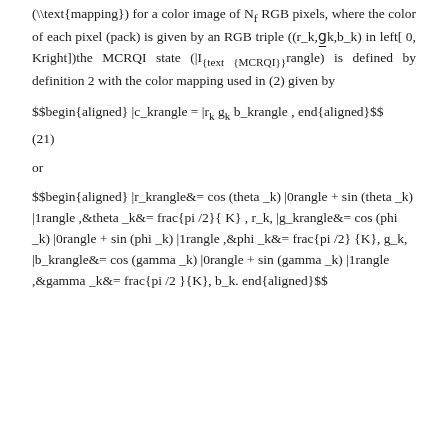(\text{mapping}) for a color image of N_f RGB pixels, where the color of each pixel (pack) is given by an RGB triple ((r_k,g_k,b_k) in left[ 0, Kright])the MCRQI state (|I_{text {MCRQI}}rangle) is defined by definition 2 with the color mapping used in (2) given by
(21)
or